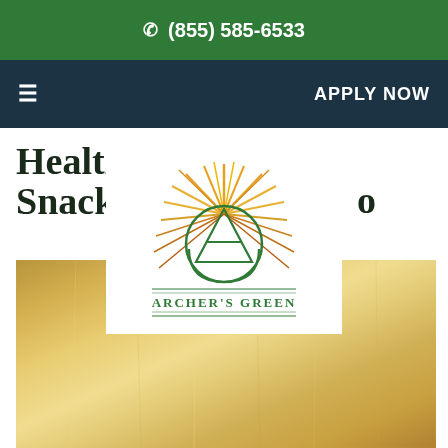☎ (855) 585-6533
≡  APPLY NOW
Healthy Snack... o
by signaturen...vs & Events
[Figure (logo): Archer's Green logo with sunburst rays in orange/yellow, green circular A triangle symbol, and text ARCHER'S GREEN underneath with decorative lines]
[Figure (photo): Gold/brass metallic textured background image]